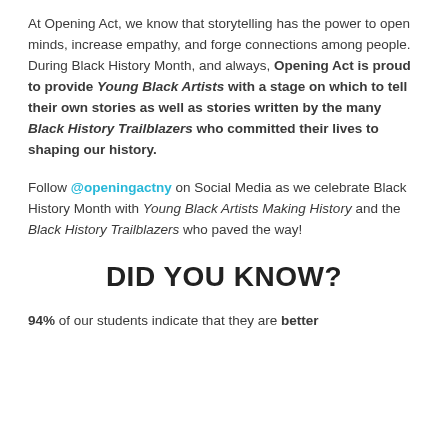At Opening Act, we know that storytelling has the power to open minds, increase empathy, and forge connections among people. During Black History Month, and always, Opening Act is proud to provide Young Black Artists with a stage on which to tell their own stories as well as stories written by the many Black History Trailblazers who committed their lives to shaping our history.
Follow @openingactny on Social Media as we celebrate Black History Month with Young Black Artists Making History and the Black History Trailblazers who paved the way!
DID YOU KNOW?
94% of our students indicate that they are better